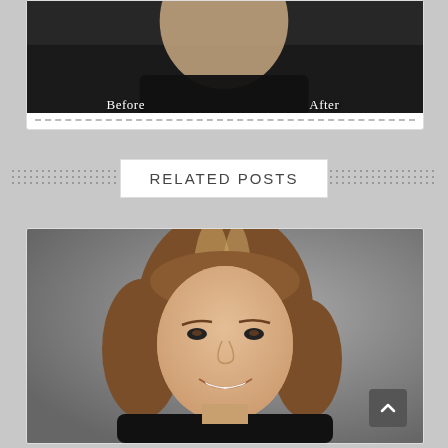[Figure (photo): Before and After comparison photos of a woman, side by side, with labels 'Before' and 'After' overlaid at the bottom of each half. Both photos show the subject in dark clothing.]
RELATED POSTS
[Figure (photo): Portrait photo of a woman with shoulder-length brown and blonde highlighted hair, smiling, against a grey background.]